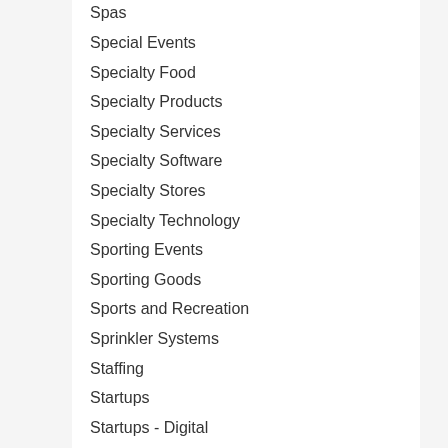Spas
Special Events
Specialty Food
Specialty Products
Specialty Services
Specialty Software
Specialty Stores
Specialty Technology
Sporting Events
Sporting Goods
Sports and Recreation
Sprinkler Systems
Staffing
Startups
Startups - Digital
Stone and Gravel